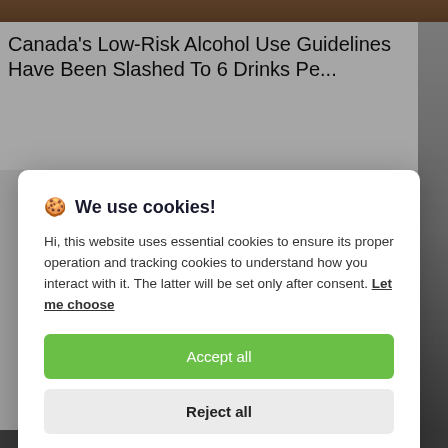[Figure (photo): Partial view of a background photo of drinks/alcohol at the top of the page]
Canada's Low-Risk Alcohol Use Guidelines Have Been Slashed To 6 Drinks Pe...
[Figure (screenshot): Cookie consent modal overlay on a webpage]
🍪 We use cookies!
Hi, this website uses essential cookies to ensure its proper operation and tracking cookies to understand how you interact with it. The latter will be set only after consent. Let me choose
Accept all
Reject all